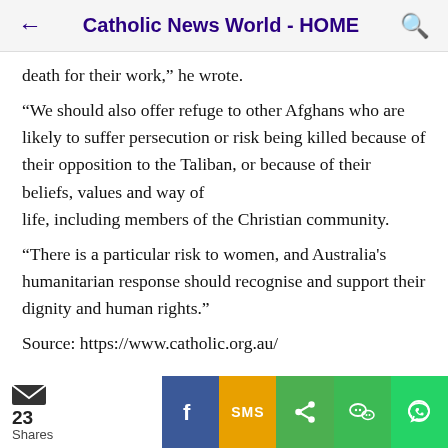Catholic News World - HOME
death for their work,” he wrote.
“We should also offer refuge to other Afghans who are likely to suffer persecution or risk being killed because of their opposition to the Taliban, or because of their beliefs, values and way of life, including members of the Christian community.
“There is a particular risk to women, and Australia's humanitarian response should recognise and support their dignity and human rights.”
Source: https://www.catholic.org.au/
23 Shares | Facebook | SMS | Share | WeChat | WhatsApp